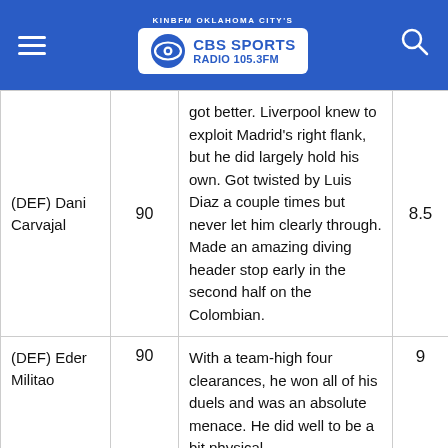KINBFM OKLAHOMA CITY'S CBS SPORTS RADIO 105.3FM
| Player | Min | Notes | Score |
| --- | --- | --- | --- |
| (DEF) Dani Carvajal | 90 | got better. Liverpool knew to exploit Madrid's right flank, but he did largely hold his own. Got twisted by Luis Diaz a couple times but never let him clearly through. Made an amazing diving header stop early in the second half on the Colombian. | 8.5 |
| (DEF) Eder Militao | 90 | With a team-high four clearances, he won all of his duels and was an absolute menace. He did well to be a bit physical | 9 |